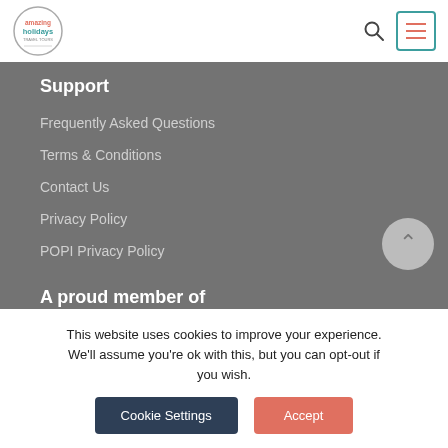[Figure (logo): Amazing Holidays logo — circular badge with colorful text]
Support
Frequently Asked Questions
Terms & Conditions
Contact Us
Privacy Policy
POPI Privacy Policy
A proud member of
This website uses cookies to improve your experience. We'll assume you're ok with this, but you can opt-out if you wish.